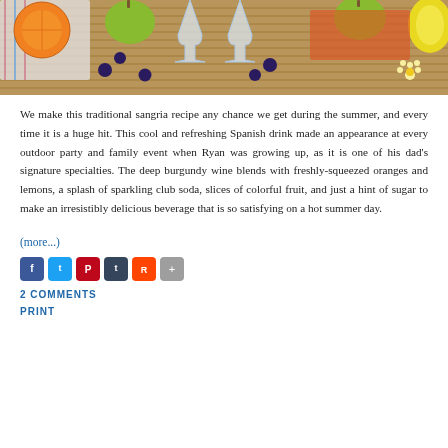[Figure (photo): Photo of fruits (oranges, green apples, lemon), wine glasses, blueberries, and colorful cloth on a bamboo mat background — ingredients for sangria]
We make this traditional sangria recipe any chance we get during the summer, and every time it is a huge hit. This cool and refreshing Spanish drink made an appearance at every outdoor party and family event when Ryan was growing up, as it is one of his dad's signature specialties. The deep burgundy wine blends with freshly-squeezed oranges and lemons, a splash of sparkling club soda, slices of colorful fruit, and just a hint of sugar to make an irresistibly delicious beverage that is so satisfying on a hot summer day.
(more...)
[Figure (other): Social media share icons: Facebook, Twitter, Pinterest, Tumblr, Reddit, Share]
2 COMMENTS
PRINT